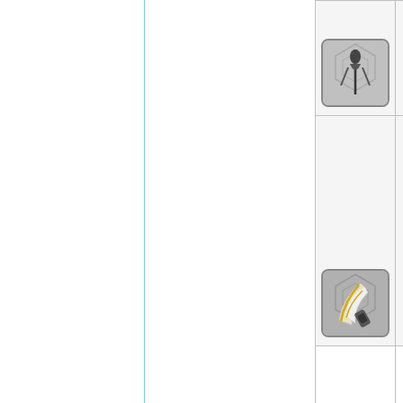[Figure (screenshot): Game UI table showing item rows. Row 1: Wolf item with hexagonal icon (partial view at top), text 'Wolf' and Thai script underneath, badge '11'. Row 2: Rear/Close Packer item with white/yellow wing-like item icon on hexagonal background, text 'Rear/Close Packer' and Thai script underneath, badge '11'. Row 3: Empty row with an up-arrow caret icon in the right column.]